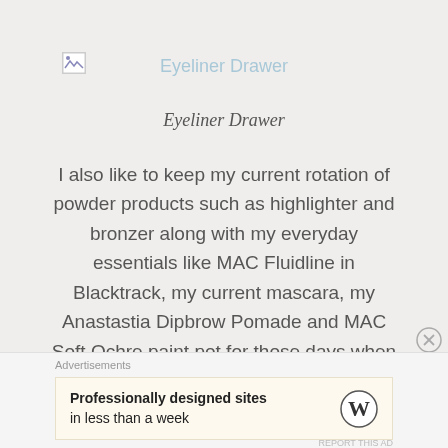[Figure (other): Broken image placeholder thumbnail in top-left of header area]
Eyeliner Drawer
Eyeliner Drawer
I also like to keep my current rotation of powder products such as highlighter and bronzer along with my everyday essentials like MAC Fluidline in Blacktrack, my current mascara, my Anastastia Dipbrow Pomade and MAC Soft Ochre paint pot for those days when I can be bothered to put on an eye base.
Advertisements
Professionally designed sites in less than a week